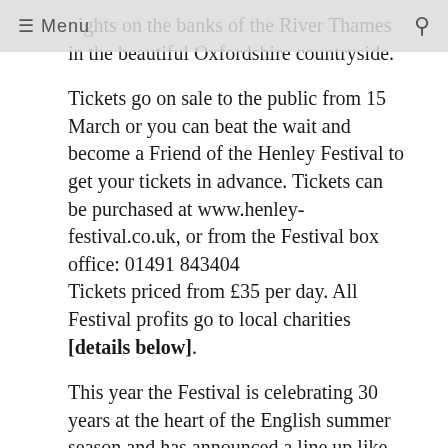≡ Menu
nights on the banks of the River Thames in the beautiful Oxfordshire countryside.
Tickets go on sale to the public from 15 March or you can beat the wait and become a Friend of the Henley Festival to get your tickets in advance. Tickets can be purchased at www.henley-festival.co.uk, or from the Festival box office: 01491 843404
Tickets priced from £35 per day. All Festival profits go to local charities [details below].
This year the Festival is celebrating 30 years at the heart of the English summer season and has announced a line up like never before.
Composer, singer, author, actor, activist – Sting was born in Newcastle, England